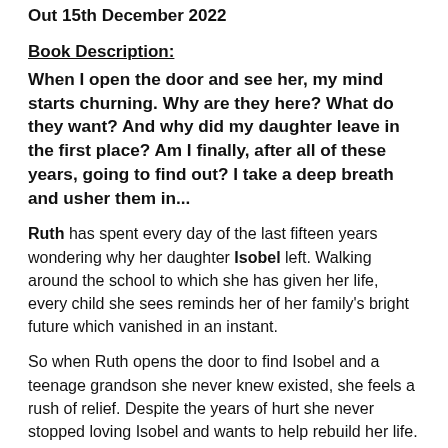Out 15th December 2022
Book Description:
When I open the door and see her, my mind starts churning. Why are they here? What do they want? And why did my daughter leave in the first place? Am I finally, after all of these years, going to find out? I take a deep breath and usher them in...
Ruth has spent every day of the last fifteen years wondering why her daughter Isobel left. Walking around the school to which she has given her life, every child she sees reminds her of her family's bright future which vanished in an instant.
So when Ruth opens the door to find Isobel and a teenage grandson she never knew existed, she feels a rush of relief. Despite the years of hurt she never stopped loving Isobel and wants to help rebuild her life.